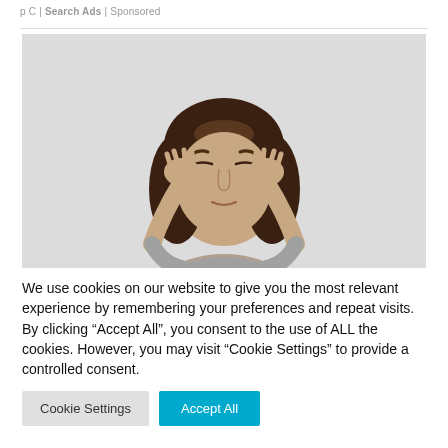p C | Search Ads | Sponsored
[Figure (photo): Woman with dark hair holding her temples with both hands, eyes closed, appearing to have a headache or migraine, wearing a gray top, against a light gray background.]
We use cookies on our website to give you the most relevant experience by remembering your preferences and repeat visits. By clicking “Accept All”, you consent to the use of ALL the cookies. However, you may visit "Cookie Settings" to provide a controlled consent.
Cookie Settings
Accept All